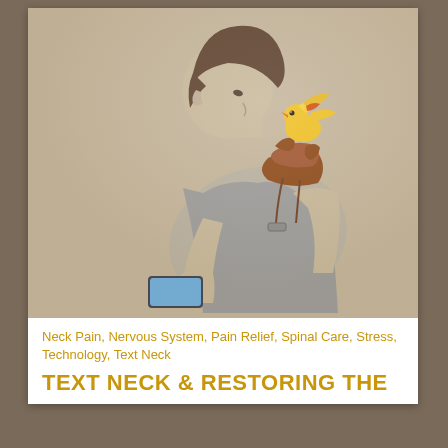[Figure (illustration): Artistic illustration of a person hunched over looking at a smartphone, with a yellow bird sitting on a riding saddle placed on their back, symbolizing 'text neck' posture.]
Neck Pain, Nervous System, Pain Relief, Spinal Care, Stress, Technology, Text Neck
TEXT NECK & RESTORING THE